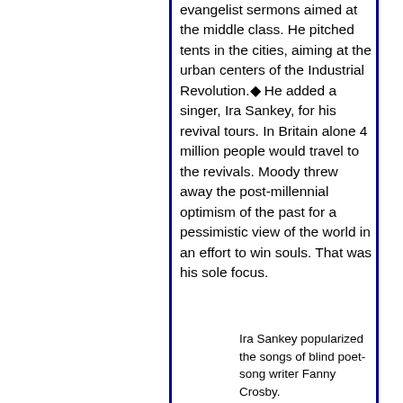evangelist sermons aimed at the middle class. He pitched tents in the cities, aiming at the urban centers of the Industrial Revolution.◆ He added a singer, Ira Sankey, for his revival tours. In Britain alone 4 million people would travel to the revivals. Moody threw away the post-millennial optimism of the past for a pessimistic view of the world in an effort to win souls. That was his sole focus.
Ira Sankey popularized the songs of blind poet-song writer Fanny Crosby.
Moody would found the